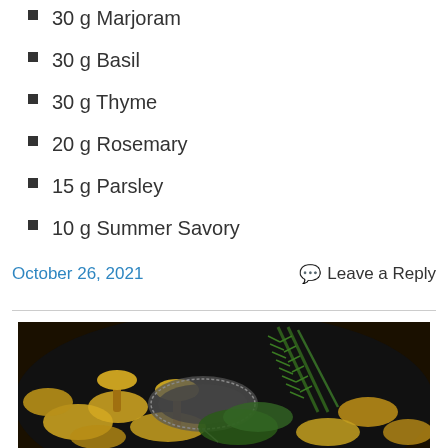30 g Marjoram
30 g Basil
30 g Thyme
20 g Rosemary
15 g Parsley
10 g Summer Savory
October 26, 2021
Leave a Reply
[Figure (photo): Close-up photo of mushrooms and fresh rosemary herbs in a dark pan or bowl, with a metal strainer visible in the center.]